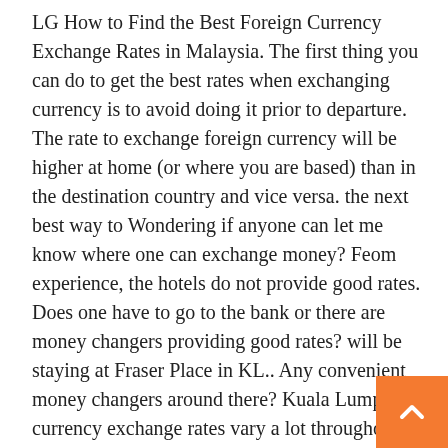LG How to Find the Best Foreign Currency Exchange Rates in Malaysia. The first thing you can do to get the best rates when exchanging currency is to avoid doing it prior to departure. The rate to exchange foreign currency will be higher at home (or where you are based) than in the destination country and vice versa. the next best way to Wondering if anyone can let me know where one can exchange money? Feom experience, the hotels do not provide good rates. Does one have to go to the bank or there are money changers providing good rates? will be staying at Fraser Place in KL.. Any convenient money changers around there? Kuala Lumpur currency exchange rates vary a lot throughout the city so it's really useful to know where the best Kuala Lumpur money changers can be found. As the reports about the best money changers in Kuala Lumpur on internet were mixed, we've made our own currency exchange rates research during our last visit to Kuala Lumpur. Order online and save time. Check out exchange rates on our online portal 24/7, constantly updated with the latest rates. Order foreign currency through our online platform, complete